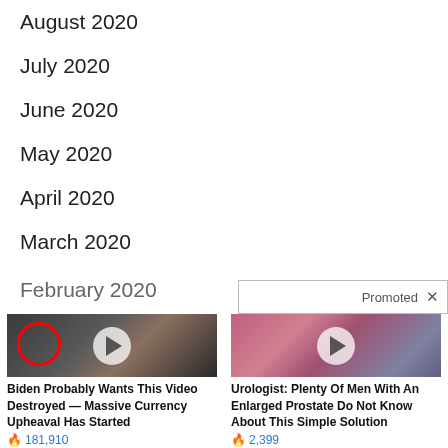August 2020
July 2020
June 2020
May 2020
April 2020
March 2020
February 2020
[Figure (screenshot): Promoted advertisement section with two ad items: 1) Biden video with 181,910 engagements, 2) Urologist prostate ad with 2,399 engagements]